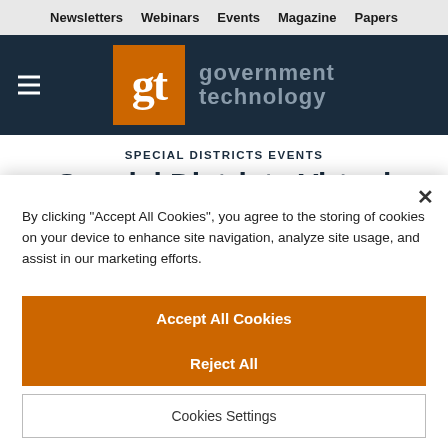Newsletters  Webinars  Events  Magazine  Papers
[Figure (logo): Government Technology logo: orange 'gt' box with 'government technology' text in grey on dark navy background with hamburger menu icon]
SPECIAL DISTRICTS EVENTS
Special Districts Virtual Summit
By clicking "Accept All Cookies", you agree to the storing of cookies on your device to enhance site navigation, analyze site usage, and assist in our marketing efforts.
Accept All Cookies
Reject All
Cookies Settings